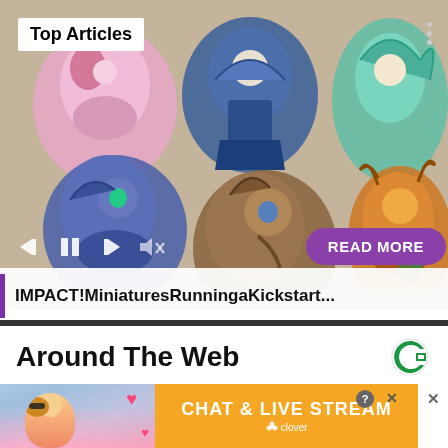[Figure (photo): Screenshot of a web article page showing anime/cartoon-style enamel pins on a beige background. Six colorful character pins are visible: a pink witch character, a blue armored figure, a teal character with flowing hair, a blue cyberpunk pony, a brown horse character, and an orange deer-like character. Overlaid are media player controls (skip back, pause, skip forward, mute) and a purple 'READ MORE' button. A 'Top Articles' badge is in the top left corner with three dots in the top right.]
IMPACT!MiniaturesRunningaKickstart...
Around The Web
[Figure (screenshot): Advertisement banner with orange background showing 'CHAT & LIVE STREAM' text with Clover branding, alongside a photo of a woman at a beach with heart emojis. Close/X buttons visible in top right area.]